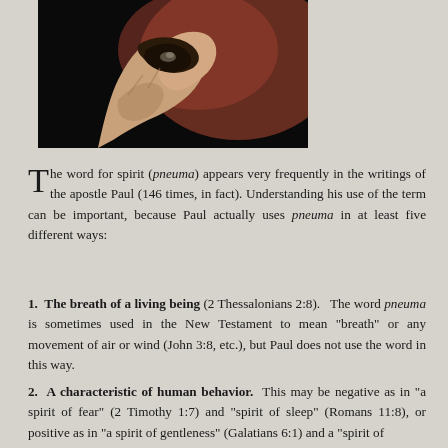[Figure (photo): A close-up photograph of hands holding or manipulating something against a dark background with reddish tones, likely a theatrical or religious artifact.]
The word for spirit (pneuma) appears very frequently in the writings of the apostle Paul (146 times, in fact). Understanding his use of the term can be important, because Paul actually uses pneuma in at least five different ways:
1. The breath of a living being (2 Thessalonians 2:8). The word pneuma is sometimes used in the New Testament to mean "breath" or any movement of air or wind (John 3:8, etc.), but Paul does not use the word in this way.
2. A characteristic of human behavior. This may be negative as in "a spirit of fear" (2 Timothy 1:7) and "spirit of sleep" (Romans 11:8), or positive as in "a spirit of gentleness" (Galatians 6:1) and a "spirit of